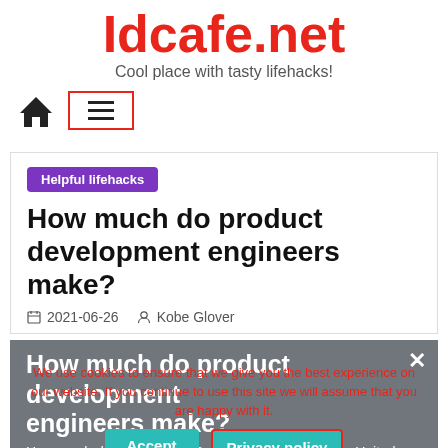Idcafe.net
Cool place with tasty lifehacks!
[Figure (screenshot): Navigation bar with home icon and hamburger menu button in a red-bordered box]
Helpful lifehacks
How much do product development engineers make?
2021-06-26   Kobe Glover
How much do product development engineers make?
How much does a Product Development Engineer in United States make? The highest salary for a
We use cookies to ensure that we give you the best experience on our website. If you continue to use this site we will assume that you are happy with it.